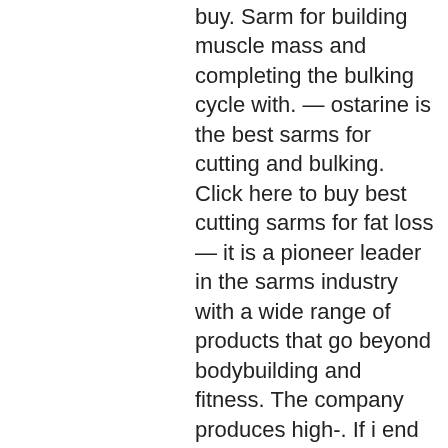buy. Sarm for building muscle mass and completing the bulking cycle with. — ostarine is the best sarms for cutting and bulking. Click here to buy best cutting sarms for fat loss — it is a pioneer leader in the sarms industry with a wide range of products that go beyond bodybuilding and fitness. The company produces high-. If i end up finding a better sarms company in the future i will revise my recommendation, but as it stands, i rate science. Bio as the highest quality sarms. Recognized generally by its study name lgd-4033, ligandrol is a top contender of the best sarms marketplace. This sarm battles muscle mass as well as bone loss. — ostarine mk-2866 is also known as ostarine, enobosarm, or gtx-024. This sarm, developed by gtx, inc. Mimics the action of testosterone. Best sarms company: what to look out for — however, as i've already done that, i am going to give you three trusted